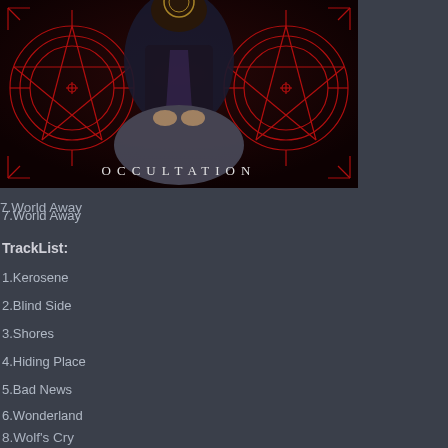[Figure (photo): Album cover for 'Occultation' — dark themed image with a figure seated in center, red occult circle designs on left and right sides, text 'OCCULTATION' at bottom in spaced serif lettering on dark red/black background.]
TrackList:
1.Kerosene
2.Blind Side
3.Shores
4.Hiding Place
5.Bad News
6.Wonderland
7.World Away
8.Wolf's Cry